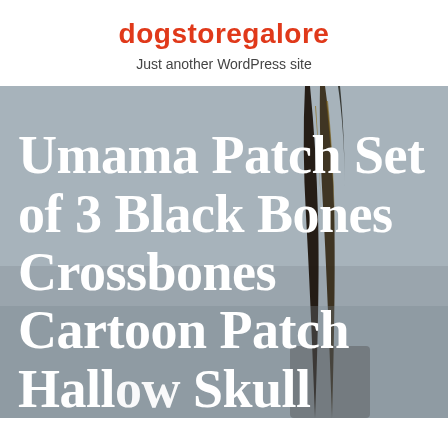dogstoregalore
Just another WordPress site
[Figure (photo): Close-up photo of dark, glossy feathers or narrow black bone-like objects rising against a muted grey background, used as hero image behind article title]
Umama Patch Set of 3 Black Bones Crossbones Cartoon Patch Halloween Skull